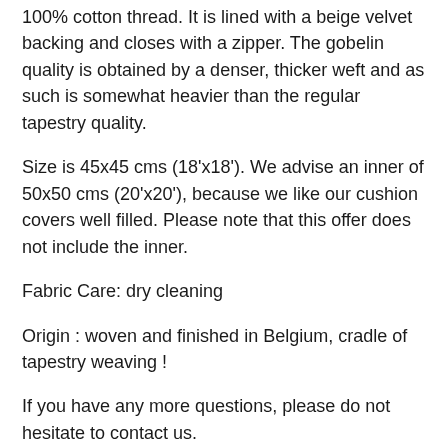100% cotton thread. It is lined with a beige velvet backing and closes with a zipper. The gobelin quality is obtained by a denser, thicker weft and as such is somewhat heavier than the regular tapestry quality.
Size is 45x45 cms (18'x18'). We advise an inner of 50x50 cms (20'x20'), because we like our cushion covers well filled. Please note that this offer does not include the inner.
Fabric Care: dry cleaning
Origin : woven and finished in Belgium, cradle of tapestry weaving !
If you have any more questions, please do not hesitate to contact us.
Enjoy your purchase at Yapatkwa !